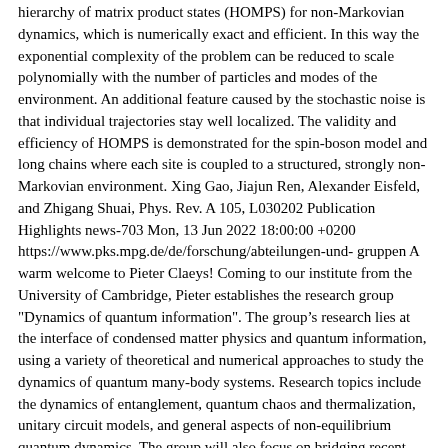hierarchy of matrix product states (HOMPS) for non-Markovian dynamics, which is numerically exact and efficient. In this way the exponential complexity of the problem can be reduced to scale polynomially with the number of particles and modes of the environment. An additional feature caused by the stochastic noise is that individual trajectories stay well localized. The validity and efficiency of HOMPS is demonstrated for the spin-boson model and long chains where each site is coupled to a structured, strongly non-Markovian environment. Xing Gao, Jiajun Ren, Alexander Eisfeld, and Zhigang Shuai, Phys. Rev. A 105, L030202 Publication Highlights news-703 Mon, 13 Jun 2022 18:00:00 +0200 https://www.pks.mpg.de/de/forschung/abteilungen-und-gruppen A warm welcome to Pieter Claeys! Coming to our institute from the University of Cambridge, Pieter establishes the research group "Dynamics of quantum information". The group's research lies at the interface of condensed matter physics and quantum information, using a variety of theoretical and numerical approaches to study the dynamics of quantum many-body systems. Research topics include the dynamics of entanglement, quantum chaos and thermalization, unitary circuit models, and general aspects of non-equilibrium quantum dynamics. The group will also focus on bridging recent advances in the dynamics of quantum systems and quantum computation.
]]> Institute's News news-702 Tue, 07 Jun 2022 11:49:47 +0200